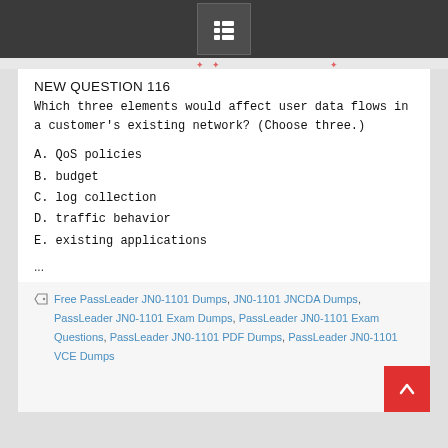[menu icon]
NEW QUESTION 116
Which three elements would affect user data flows in a customer’s existing network? (Choose three.)
A. QoS policies
B. budget
C. log collection
D. traffic behavior
E. existing applications
...
Free PassLeader JN0-1101 Dumps, JN0-1101 JNCDA Dumps, PassLeader JN0-1101 Exam Dumps, PassLeader JN0-1101 Exam Questions, PassLeader JN0-1101 PDF Dumps, PassLeader JN0-1101 VCE Dumps